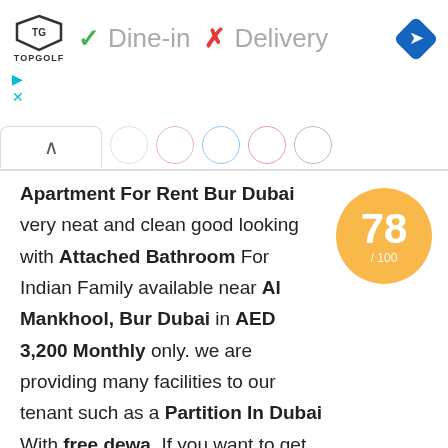[Figure (screenshot): TopGolf advertisement banner showing Dine-in checkmark and Delivery X mark with navigation diamond icon]
Apartment For Rent Bur Dubai very neat and clean good looking with Attached Bathroom For Indian Family available near Al Mankhool, Bur Dubai in AED 3,200 Monthly only. we are providing many facilities to our tenant such as a Partition In Dubai With free dewa, If you want to get this on so don't miss your chance for this opportunity because we are providing many good facilities in AED 3,200 Monthly we allowed any good family
[Figure (infographic): Score circle showing 78 / 100 in orange]